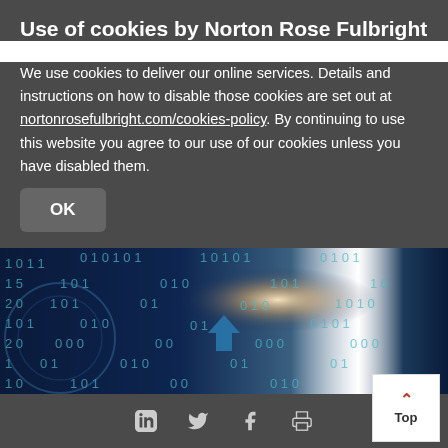Use of cookies by Norton Rose Fulbright
We use cookies to deliver our online services. Details and instructions on how to disable those cookies are set out at nortonrosefulbright.com/cookies-policy. By continuing to use this website you agree to our use of our cookies unless you have disabled them.
[Figure (illustration): Dark blue digital binary code background image with glowing light effect and a downward-pointing shield/arrow icon in the center, representing cybersecurity.]
Social share icons: LinkedIn, Twitter, Facebook, Print. Top button.